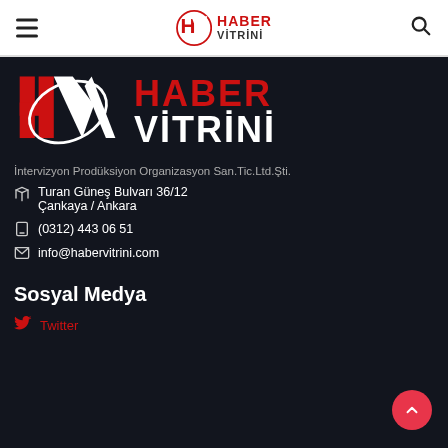Haber Vitrini — site header with hamburger menu, logo, and search icon
[Figure (logo): Haber Vitrini large logo on dark background — HV emblem in red and white with text HABER VİTRİNİ]
İntervizyon Prodüksiyon Organizasyon San.Tic.Ltd.Şti.
Turan Güneş Bulvarı 36/12 Çankaya / Ankara
(0312) 443 06 51
info@habervitrini.com
Sosyal Medya
Twitter